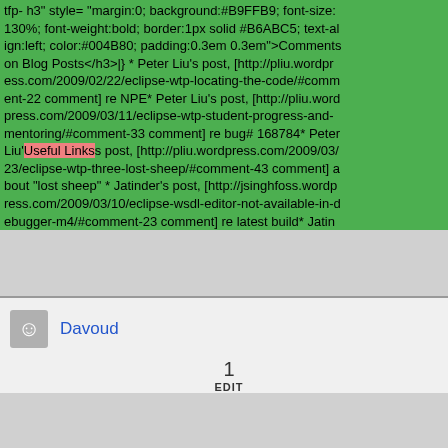tfp- h3" style= "margin:0; background:#B9FFB9; font-size:130%; font-weight:bold; border:1px solid #B6ABC5; text-align:left; color:#004B80; padding:0.3em 0.3em">Comments on Blog Posts</h3>|}  * Peter Liu's post, [http://pliu.wordpress.com/2009/02/22/eclipse-wtp-locating-the-code/#comment-22 comment] re NPE* Peter Liu's post, [http://pliu.wordpress.com/2009/03/11/eclipse-wtp-student-progress-and-mentoring/#comment-33 comment] re bug# 168784* Peter Liu'Useful Linkss post, [http://pliu.wordpress.com/2009/03/23/eclipse-wtp-three-lost-sheep/#comment-43 comment] about "lost sheep"  * Jatinder's post, [http://jsinghfoss.wordpress.com/2009/03/10/eclipse-wsdl-editor-not-available-in-debugger-m4/#comment-23 comment] re latest build* Jatin
Davoud
1
EDIT